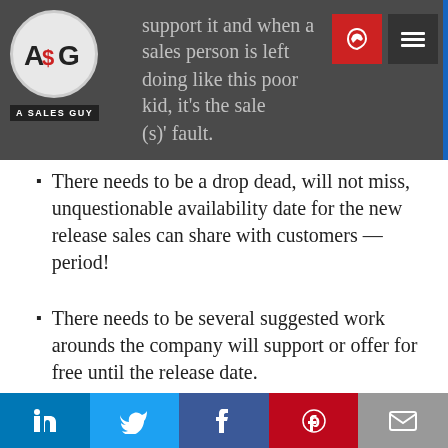support it and when a sales person is left doing like this poor kid, it's the sales (s). fault.
There needs to be a drop dead, will not miss, unquestionable availability date for the new release sales can share with customers — period!
There needs to be several suggested work arounds the company will support or offer for free until the release date.
Sales people need training on how to address the issue of lack of multi browser compatibility now
There needs to be a call rotation where leadership listens to the calls the sales
LinkedIn | Twitter | Facebook | Pinterest | Email